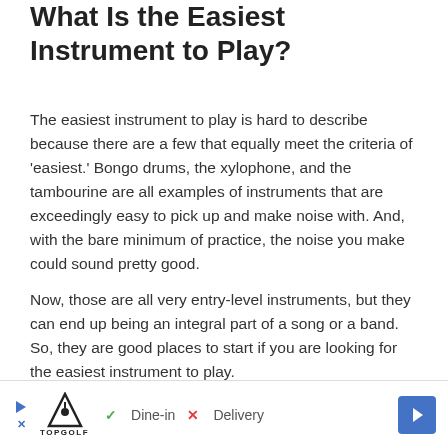What Is the Easiest Instrument to Play?
The easiest instrument to play is hard to describe because there are a few that equally meet the criteria of 'easiest.' Bongo drums, the xylophone, and the tambourine are all examples of instruments that are exceedingly easy to pick up and make noise with. And, with the bare minimum of practice, the noise you make could sound pretty good.
Now, those are all very entry-level instruments, but they can end up being an integral part of a song or a band. So, they are good places to start if you are looking for the easiest instrument to play.
What Is the Easiest String Instrument
[Figure (other): Advertisement banner for TopGolf showing Dine-in and Delivery options with navigation arrow button]